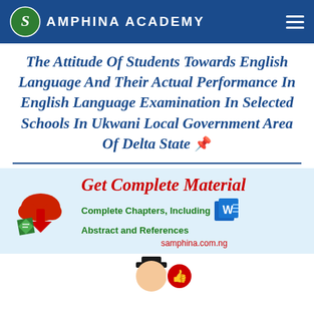SAMPHINA ACADEMY
The Attitude Of Students Towards English Language And Their Actual Performance In English Language Examination In Selected Schools In Ukwani Local Government Area Of Delta State
[Figure (infographic): Get Complete Material promotional banner with cloud download icon, green diamond book icon, Word document icon, text reading 'Complete Chapters, Including Abstract and References', and website samphina.com.ng]
[Figure (illustration): Partially visible bottom illustration showing a figure in a top hat with thumbs up icon]